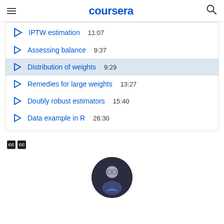coursera
IPTW estimation  11:07
Assessing balance  9:37
Distribution of weights  9:29
Remedies for large weights  13:27
Doubly robust estimators  15:40
Data example in R  26:30
[Figure (other): Closed captions CC icon buttons]
[Figure (photo): Circular instructor profile photo showing a man with glasses]